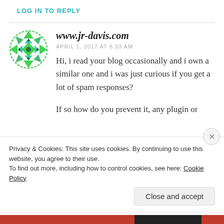LOG IN TO REPLY
[Figure (illustration): Green geometric/kaleidoscope-style circular avatar icon for www.jr-davis.com]
www.jr-davis.com
APRIL 1, 2017 AT 8:33 AM
Hi, i read your blog occasionally and i own a similar one and i was just curious if you get a lot of spam responses?
If so how do you prevent it, any plugin or
Privacy & Cookies: This site uses cookies. By continuing to use this website, you agree to their use.
To find out more, including how to control cookies, see here: Cookie Policy
Close and accept